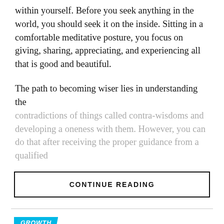within yourself. Before you seek anything in the world, you should seek it on the inside. Sitting in a comfortable meditative posture, you focus on giving, sharing, appreciating, and experiencing all that is good and beautiful.
The path to becoming wiser lies in understanding the contradictions of things called contra-wisdoms and developing a oneness with them. However, you can do that after receiving the proper guidance from a qualified
CONTINUE READING
GROWTH
7 Reasons Why People Hire Personal Development Coaches and Their Skill...